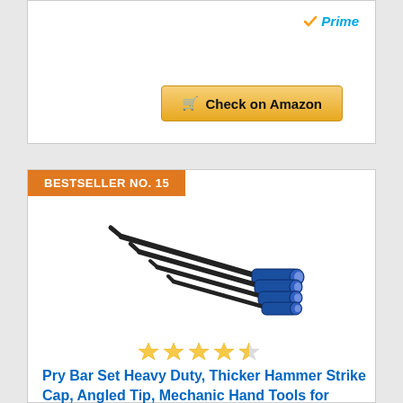[Figure (logo): Amazon Prime logo with checkmark and 'Prime' text in blue italic]
[Figure (other): Yellow 'Check on Amazon' button with cart icon]
BESTSELLER NO. 15
[Figure (photo): Set of 4 pry bars with blue handles and angled tips, arranged diagonally]
[Figure (other): Star rating: 4 out of 5 stars (4 filled yellow stars, 1 half/empty star)]
Pry Bar Set Heavy Duty, Thicker Hammer Strike Cap, Angled Tip, Mechanic Hand Tools for Automotive,...